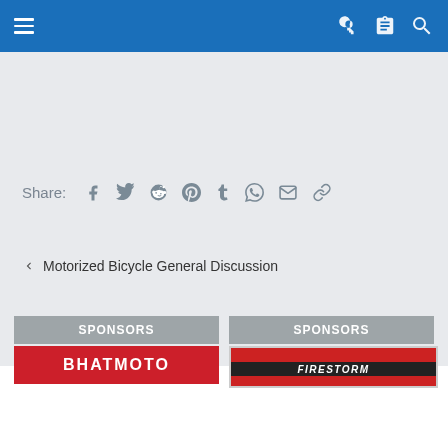Navigation bar with hamburger menu and icons
Share:
[Figure (screenshot): Social share icons: Facebook, Twitter, Reddit, Pinterest, Tumblr, WhatsApp, Email, Link]
< Motorized Bicycle General Discussion
SPONSORS
[Figure (logo): BHATMOTO red logo banner]
SPONSORS
[Figure (logo): FIRESTORM logo banner with red and black stripes]